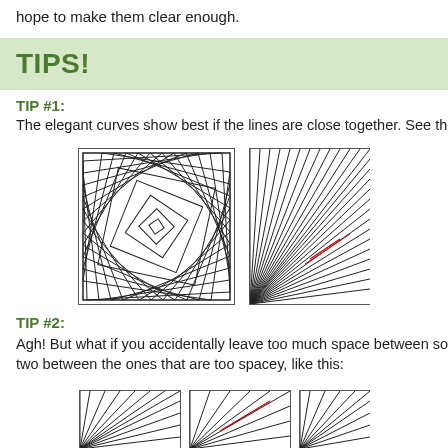hope to make them clear enough.
TIPS!
TIP #1:
The elegant curves show best if the lines are close together. See the
[Figure (illustration): Two spiral square pattern diagrams showing elegant curves with lines close together]
TIP #2:
Agh! But what if you accidentally leave too much space between so… two between the ones that are too spacey, like this:
[Figure (illustration): Three partial spiral/fan pattern diagrams at the bottom of the page]